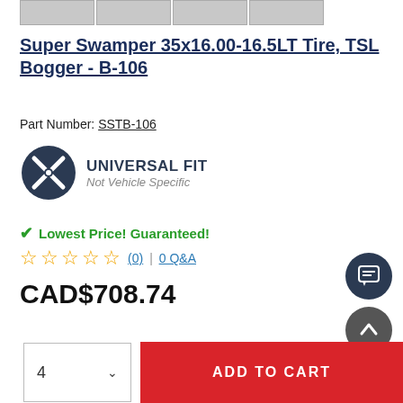[Figure (photo): Thumbnail strip of 4 tire product images at top]
Super Swamper 35x16.00-16.5LT Tire, TSL Bogger - B-106
Part Number: SSTB-106
[Figure (infographic): Universal Fit badge with wrench/screwdriver icon, text: UNIVERSAL FIT / Not Vehicle Specific]
Lowest Price! Guaranteed!
☆☆☆☆☆ (0) | 0 Q&A
CAD$708.74
4 (quantity selector) | ADD TO CART